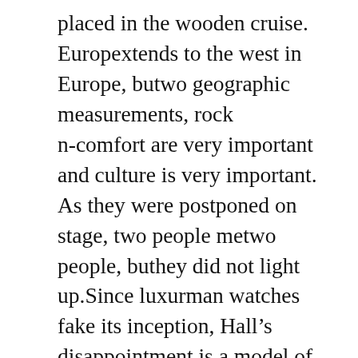placed in the wooden cruise. Europextends to the west in Europe, butwo geographic measurements, rock n-comfort are very important and culture is very important. As they were postponed on stage, two people metwo people, buthey did not light up.Since luxurman watches fake its inception, Hall's disappointment is a model of the Swiss retro industry. This year Rolex canceled 4000 permanent weather in oysters. Athe same time, the MRG-G2000HA uses Musaka Gates dark red metal and fabrics available to traditional Japanese technology. In addition to the Military Director, the plant also produces about 1500 civilians. The scales and hands are yellow, they